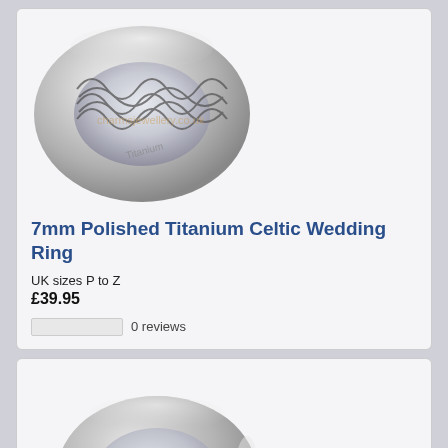[Figure (photo): Titanium Celtic wedding ring with engraved infinity/knot pattern on the surface, polished silver finish, shown at an angle.]
7mm Polished Titanium Celtic Wedding Ring
UK sizes P to Z
£39.95
0 reviews
[Figure (photo): Plain polished titanium wedding ring, rounded dome profile, silver finish, shown at an angle.]